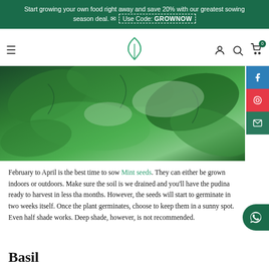Start growing your own food right away and save 20% with our greatest sowing season deal. ✉ Use Code: GROWNOW
[Figure (screenshot): Website navigation bar with hamburger menu, leaf logo in teal, user/search/cart icons]
[Figure (photo): Close-up photo of green mint leaves with sunlight]
February to April is the best time to sow Mint seeds. They can either be grown indoors or outdoors. Make sure the soil is well drained and you'll have the pudina ready to harvest in less than months. However, the seeds will start to germinate in two weeks itself. Once the plant germinates, choose to keep them in a sunny spot. Even half shade works. Deep shade, however, is not recommended.
Basil